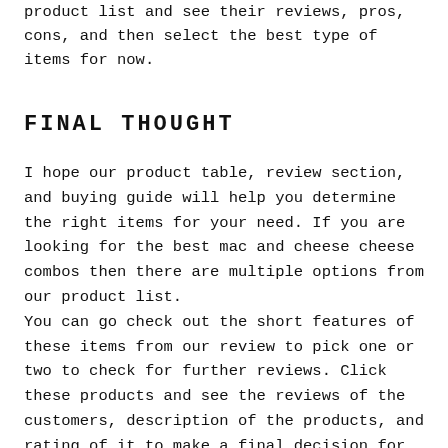product list and see their reviews, pros, cons, and then select the best type of items for now.
FINAL THOUGHT
I hope our product table, review section, and buying guide will help you determine the right items for your need. If you are looking for the best mac and cheese cheese combos then there are multiple options from our product list.
You can go check out the short features of these items from our review to pick one or two to check for further reviews. Click these products and see the reviews of the customers, description of the products, and rating of it to make a final decision for buying it.